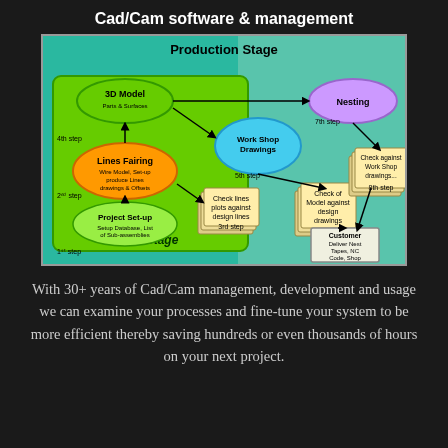Cad/Cam software & management
[Figure (flowchart): CAD/CAM process flowchart showing Initial Stage (Project Set-up, Lines Fairing, 3D Model) and Production Stage (Work Shop Drawings, Nesting, Check steps, Customer delivery). Steps connected by arrows with numbered steps 1st through 8th.]
With 30+ years of Cad/Cam management, development and usage we can examine your processes and fine-tune your system to be more efficient thereby saving hundreds or even thousands of hours on your next project.